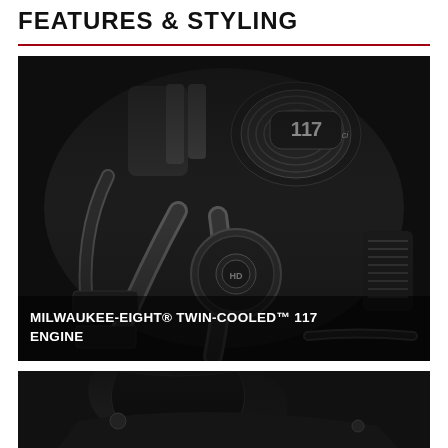FEATURES & STYLING
[Figure (photo): Close-up black and white photograph of a Harley-Davidson Milwaukee-Eight Twin-Cooled 117 engine showing chrome engine components, air cleaner, cylinders, and engine casing with '117' badge, with overlaid text label at bottom reading 'MILWAUKEE-EIGHT® TWIN-COOLED™ 117 ENGINE']
[Figure (photo): Partial dark photograph showing the lower portion of a Harley-Davidson motorcycle, partially visible at the bottom of the page]